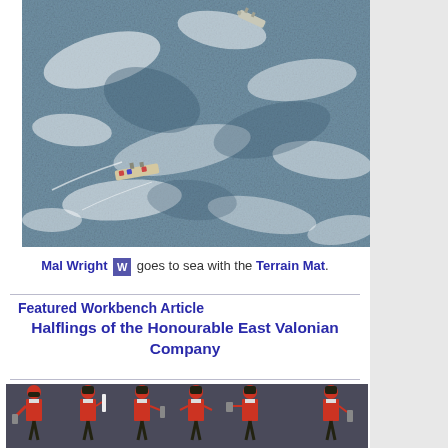[Figure (photo): Aerial/top-down photo of miniature naval scene on a textured sea terrain mat, showing small ship models on blue-grey choppy water texture]
Mal Wright goes to sea with the Terrain Mat.
Featured Workbench Article
Halflings of the Honourable East Valonian Company
[Figure (photo): Row of painted miniature halfling soldiers in red and black uniforms, holding weapons and flags, on a grey base]